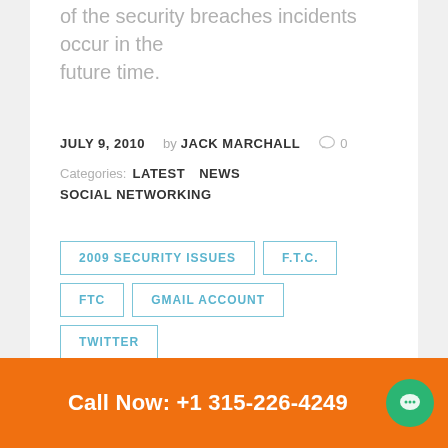of the security breaches incidents occur in the future time.
JULY 9, 2010    by JACK MARCHALL    0
Categories: LATEST    NEWS
SOCIAL NETWORKING
2009 SECURITY ISSUES
F.T.C.
FTC
GMAIL ACCOUNT
TWITTER
Call Now: +1 315-226-4249